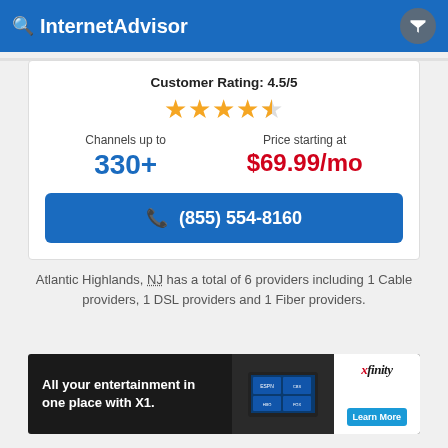InternetAdvisor
Customer Rating: 4.5/5
Channels up to 330+
Price starting at $69.99/mo
(855) 554-8160
Atlantic Highlands, NJ has a total of 6 providers including 1 Cable providers, 1 DSL providers and 1 Fiber providers.
[Figure (infographic): Xfinity advertisement banner: 'All your entertainment in one place with X1.' with TV screenshot and Learn More button]